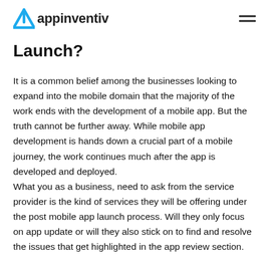appinventiv
Launch?
It is a common belief among the businesses looking to expand into the mobile domain that the majority of the work ends with the development of a mobile app. But the truth cannot be further away. While mobile app development is hands down a crucial part of a mobile journey, the work continues much after the app is developed and deployed.
What you as a business, need to ask from the service provider is the kind of services they will be offering under the post mobile app launch process. Will they only focus on app update or will they also stick on to find and resolve the issues that get highlighted in the app review section.